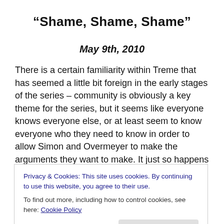“Shame, Shame, Shame”
May 9th, 2010
There is a certain familiarity within Treme that has seemed a little bit foreign in the early stages of the series – community is obviously a key theme for the series, but it seems like everyone knows everyone else, or at least seem to know everyone who they need to know in order to allow Simon and Overmeyer to make the arguments they want to make. It just so happens that Lambreaux knows a
Privacy & Cookies: This site uses cookies. By continuing to use this website, you agree to their use.
To find out more, including how to control cookies, see here: Cookie Policy
could be possible, moments that pull us out of the sense